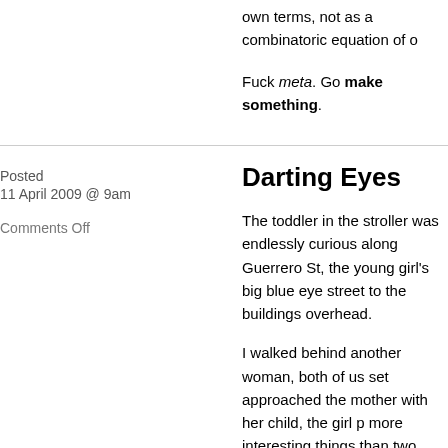own terms, not as a combinatoric equation of o
Fuck meta. Go make something.
Posted
11 April 2009 @ 9am
Comments Off
Darting Eyes
The toddler in the stroller was endlessly curious along Guerrero St, the young girl's big blue eye street to the buildings overhead.
I walked behind another woman, both of us set approached the mother with her child, the girl p more interesting things than two hurried strange
I watched her through my dark sunglasses as th toddler thought of her morning excursion throug was within arm's length of the stroller when, su look the woman in the face, breaking her gaze vented her from turning further.